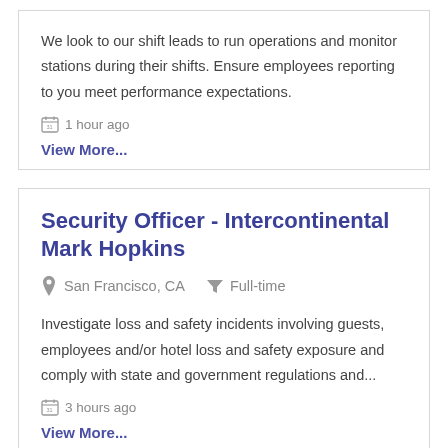We look to our shift leads to run operations and monitor stations during their shifts. Ensure employees reporting to you meet performance expectations.
1 hour ago
View More...
Security Officer - Intercontinental Mark Hopkins
San Francisco, CA   Full-time
Investigate loss and safety incidents involving guests, employees and/or hotel loss and safety exposure and comply with state and government regulations and...
3 hours ago
View More...